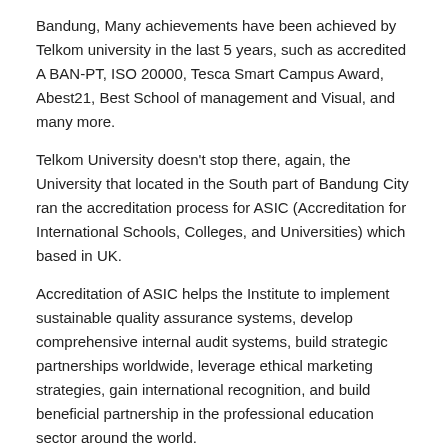Bandung, Many achievements have been achieved by Telkom university in the last 5 years, such as accredited A BAN-PT, ISO 20000, Tesca Smart Campus Award, Abest21, Best School of management and Visual, and many more.
Telkom University doesn't stop there, again, the University that located in the South part of Bandung City ran the accreditation process for ASIC (Accreditation for International Schools, Colleges, and Universities) which based in UK.
Accreditation of ASIC helps the Institute to implement sustainable quality assurance systems, develop comprehensive internal audit systems, build strategic partnerships worldwide, leverage ethical marketing strategies, gain international recognition, and build beneficial partnership in the professional education sector around the world.
Mr. Lee Hammond as CEO of ASIC & Dr. Oesman Suleman as Assessor directly asses Telkom University on 15th May 2018. There were series of activities took place on that day, such as visiting to several University's facilities; Auditorium, Parking Systems, Green House, Student Mart, Business Center, Student Center, Clinic, Dormitory, Telkom University Convention Hall, Open Library and Bandung Techno Park.